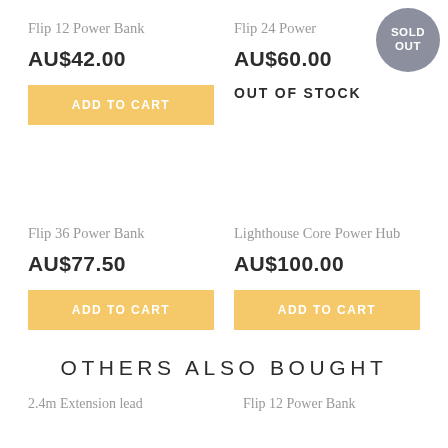Flip 12 Power Bank
AU$42.00
ADD TO CART
Flip 24 Power
SOLD OUT
AU$60.00
OUT OF STOCK
Flip 36 Power Bank
AU$77.50
ADD TO CART
Lighthouse Core Power Hub
AU$100.00
ADD TO CART
OTHERS ALSO BOUGHT
2.4m Extension lead
Flip 12 Power Bank